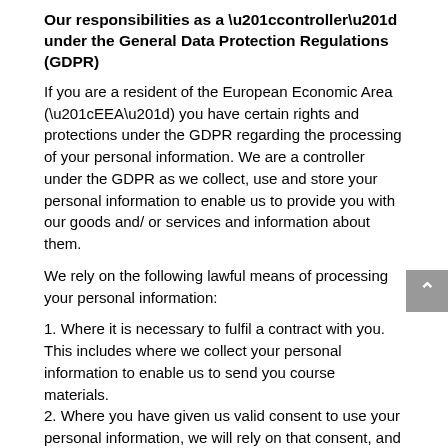Our responsibilities as a "controller" under the General Data Protection Regulations (GDPR)
If you are a resident of the European Economic Area (“EEA”) you have certain rights and protections under the GDPR regarding the processing of your personal information. We are a controller under the GDPR as we collect, use and store your personal information to enable us to provide you with our goods and/ or services and information about them.
We rely on the following lawful means of processing your personal information:
1. Where it is necessary to fulfil a contract with you. This includes where we collect your personal information to enable us to send you course materials.
2. Where you have given us valid consent to use your personal information, we will rely on that consent, and only use the personal information for the specific